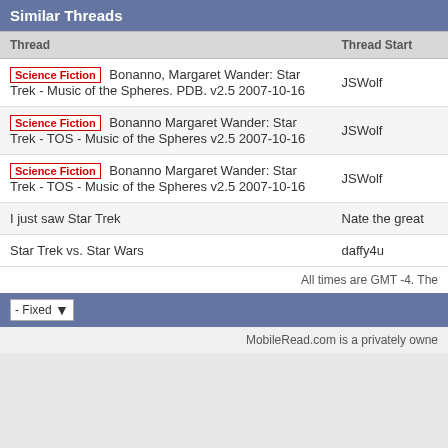Similar Threads
| Thread | Thread Starter |
| --- | --- |
| Science Fiction  Bonanno, Margaret Wander: Star Trek - Music of the Spheres. PDB. v2.5 2007-10-16 | JSWolf |
| Science Fiction  Bonanno Margaret Wander: Star Trek - TOS - Music of the Spheres v2.5 2007-10-16 | JSWolf |
| Science Fiction  Bonanno Margaret Wander: Star Trek - TOS - Music of the Spheres v2.5 2007-10-16 | JSWolf |
| I just saw Star Trek | Nate the great |
| Star Trek vs. Star Wars | daffy4u |
All times are GMT -4. The
- Fixed
MobileRead.com is a privately owned